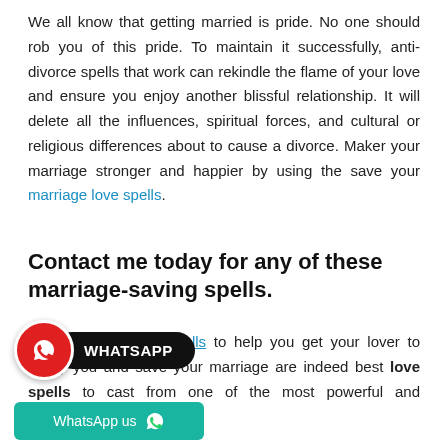We all know that getting married is pride. No one should rob you of this pride. To maintain it successfully, anti-divorce spells that work can rekindle the flame of your love and ensure you enjoy another blissful relationship. It will delete all the influences, spiritual forces, and cultural or religious differences about to cause a divorce. Maker your marriage stronger and happier by using the save your marriage love spells.
Contact me today for any of these marriage-saving spells.
Best marriage love spells to help you get your lover to marry you and save your marriage are indeed best love spells to cast from one of the most powerful and experienced spell casters